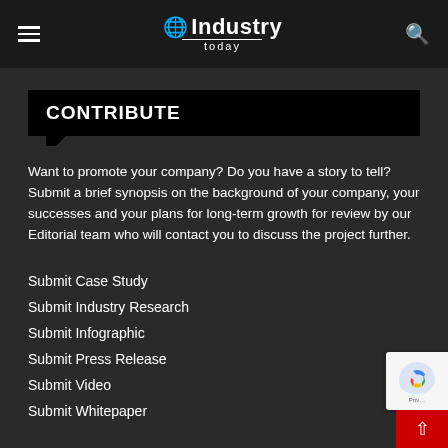Industry Today
CONTRIBUTE
Want to promote your company? Do you have a story to tell? Submit a brief synopsis on the background of your company, your successes and your plans for long-term growth for review by our Editorial team who will contact you to discuss the project further.
Submit Case Study
Submit Industry Research
Submit Infographic
Submit Press Release
Submit Video
Submit Whitepaper